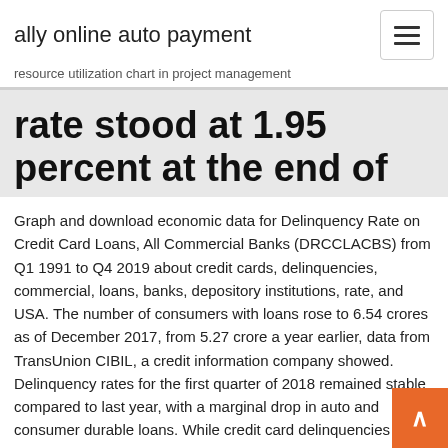ally online auto payment
resource utilization chart in project management
rate stood at 1.95 percent at the end of
Graph and download economic data for Delinquency Rate on Credit Card Loans, All Commercial Banks (DRCCLACBS) from Q1 1991 to Q4 2019 about credit cards, delinquencies, commercial, loans, banks, depository institutions, rate, and USA. The number of consumers with loans rose to 6.54 crores as of December 2017, from 5.27 crore a year earlier, data from TransUnion CIBIL, a credit information company showed. Delinquency rates for the first quarter of 2018 remained stable compared to last year, with a marginal drop in auto and consumer durable loans. While credit card delinquencies are up, balances are down, dropping from $870 billion to $848 billion through the first quarter of 2019. As of the first quarter 2019, the delinquency rate for credit cards issued across all